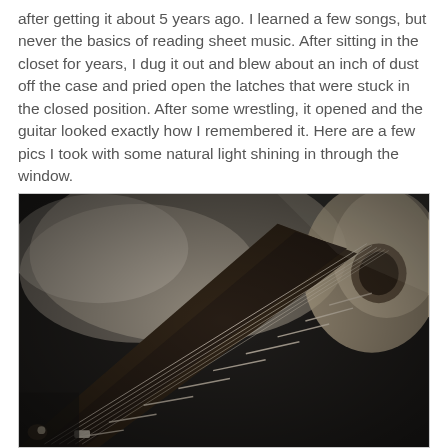after getting it about 5 years ago. I learned a few songs, but never the basics of reading sheet music. After sitting in the closet for years, I dug it out and blew about an inch of dust off the case and pried open the latches that were stuck in the closed position. After some wrestling, it opened and the guitar looked exactly how I remembered it. Here are a few pics I took with some natural light shining in through the window.
[Figure (photo): Black and white close-up photograph of an acoustic guitar, showing the fretboard/neck diagonally from lower-left to upper-right, with frets and strings visible. The guitar body and sound hole are partially visible at right. Shallow depth of field with blurred background.]